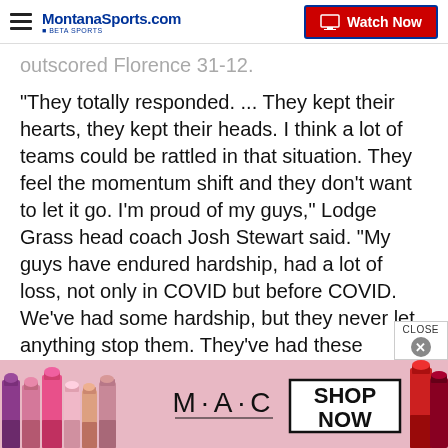MontanaSports.com | Watch Now
outscored Florence 31-12.
"They totally responded. ... They kept their hearts, they kept their heads. I think a lot of teams could be rattled in that situation. They feel the momentum shift and they don't want to let it go. I'm proud of my guys," Lodge Grass head coach Josh Stewart said. "My guys have endured hardship, had a lot of loss, not only in COVID but before COVID. We've had some hardship, but they never let anything stop them. They've had these dreams since they were little. They've worke
[Figure (photo): M·A·C cosmetics advertisement banner showing colorful lipstick tubes on left, MAC logo in center, SHOP NOW box on right, and red lipstick on far right on a pink background.]